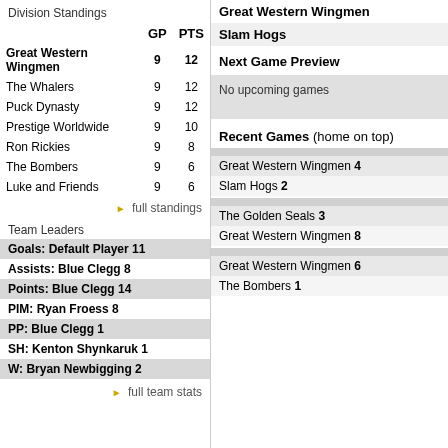Division Standings
|  | GP | PTS |
| --- | --- | --- |
| Great Western Wingmen | 9 | 12 |
| The Whalers | 9 | 12 |
| Puck Dynasty | 9 | 12 |
| Prestige Worldwide | 9 | 10 |
| Ron Rickies | 9 | 8 |
| The Bombers | 9 | 6 |
| Luke and Friends | 9 | 6 |
full standings
Team Leaders
Goals: Default Player 11
Assists: Blue Clegg 8
Points: Blue Clegg 14
PIM: Ryan Froess 8
PP: Blue Clegg 1
SH: Kenton Shynkaruk 1
W: Bryan Newbigging 2
full team stats
Great Western Wingmen
Slam Hogs
Next Game Preview
No upcoming games
Recent Games (home on top)
Great Western Wingmen 4
Slam Hogs 2
The Golden Seals 3
Great Western Wingmen 8
Great Western Wingmen 6
The Bombers 1